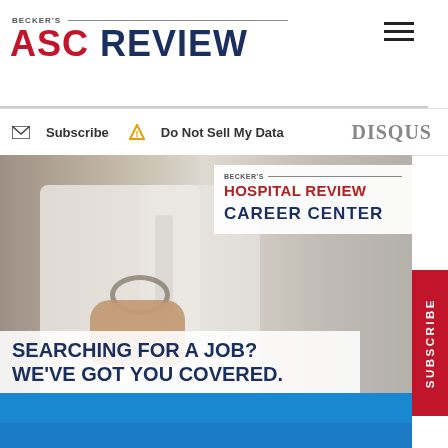BECKER'S ASC REVIEW
Subscribe  Do Not Sell My Data
DISQUS
[Figure (photo): Advertisement: Becker's Hospital Review Career Center. Doctor in white coat with stethoscope, hands clasped, smiling. Text overlay: SEARCHING FOR A JOB? WE'VE GOT YOU COVERED.]
SUBSCRIBE